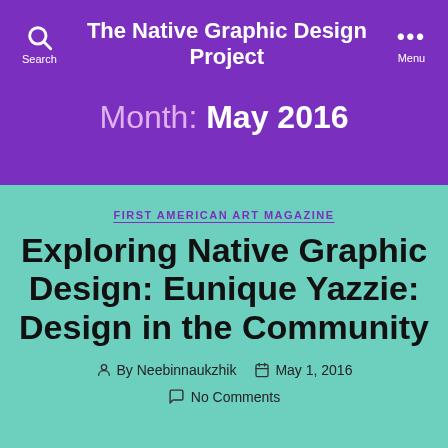The Native Graphic Design Project
Month: May 2016
FIRST AMERICAN ART MAGAZINE
Exploring Native Graphic Design: Eunique Yazzie: Design in the Community
By Neebinnaukzhik   May 1, 2016
No Comments